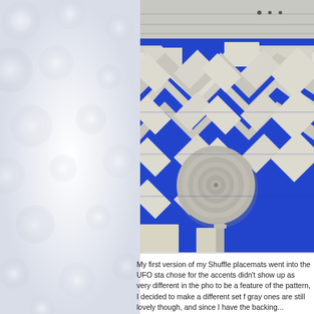[Figure (photo): Left side decorative background with soft bokeh white and grey circular lights on a light grey/white gradient background]
[Figure (photo): Close-up photo of a blue and white/grey chevron quilt or placemat pattern laid on a wooden surface, with a rolled strip of grey binding fabric placed on top of the quilt. The quilt shows a bold zigzag/chevron pattern in cobalt blue and white-grey fabrics.]
My first version of my Shuffle placemats went into the UFO sta chose for the accents didn't show up as very different in the pho to be a feature of the pattern, I decided to make a different set f gray ones are still lovely though, and since I have the backing...